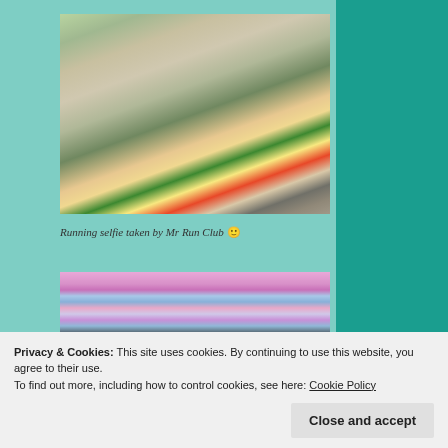[Figure (photo): A group of runners on a street, with a man in yellow shirt and green headband taking a selfie in the foreground]
Running selfie taken by Mr Run Club 🙂
[Figure (photo): A large colorful mural of Bob Marley on a wall, with a group of runners posing in front of it]
Privacy & Cookies: This site uses cookies. By continuing to use this website, you agree to their use.
To find out more, including how to control cookies, see here: Cookie Policy
Close and accept